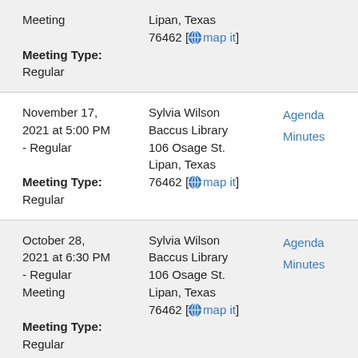Meeting
Meeting Type: Regular
Lipan, Texas 76462 [map it]
November 17, 2021 at 5:00 PM - Regular
Meeting Type: Regular
Sylvia Wilson Baccus Library 106 Osage St. Lipan, Texas 76462 [map it]
Agenda Minutes
October 28, 2021 at 6:30 PM - Regular Meeting
Meeting Type: Regular
Sylvia Wilson Baccus Library 106 Osage St. Lipan, Texas 76462 [map it]
Agenda Minutes